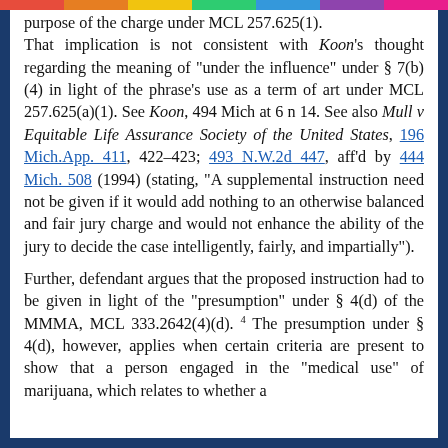purpose of the charge under MCL 257.625(1). That implication is not consistent with Koon's thought regarding the meaning of "under the influence" under § 7(b)(4) in light of the phrase's use as a term of art under MCL 257.625(a)(1). See Koon, 494 Mich at 6 n 14. See also Mull v Equitable Life Assurance Society of the United States, 196 Mich.App. 411, 422–423; 493 N.W.2d 447, aff'd by 444 Mich. 508 (1994) (stating, "A supplemental instruction need not be given if it would add nothing to an otherwise balanced and fair jury charge and would not enhance the ability of the jury to decide the case intelligently, fairly, and impartially").
Further, defendant argues that the proposed instruction had to be given in light of the "presumption" under § 4(d) of the MMMA, MCL 333.2642(4)(d). 4 The presumption under § 4(d), however, applies when certain criteria are present to show that a person engaged in the "medical use" of marijuana, which relates to whether a